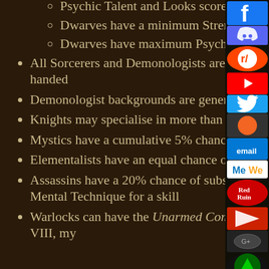Psychic Talent and Looks scores of 12
Dwarves have a minimum Strength score of 12
Dwarves have maximum Psychic Talent and Looks scores of 11
All Sorcerers and Demonologists are left-handed, otherwise there is only a 10% of a character being left handed
Demonologist backgrounds are generated as if they were Sorcerers
Knights may specialise in more than one weapon, but never the same weapon twice
Mystics have a cumulative 5% chance per level above 7th of becoming an Adept
Elementalists have an equal chance of specialising in any of the five elements.
Assassins have a 20% chance of substituting a Combat Technique for a Skill, but will not substitute a Mental Technique for a skill
Warlocks can have the Unarmed Combat skill even if they do not currently specialise in Weapon Group VIII, my